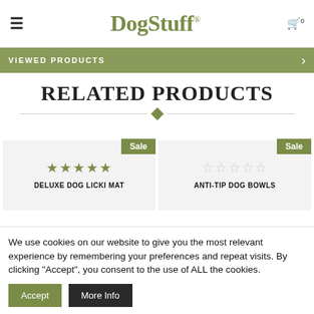DogStuff®
VIEWED PRODUCTS
RELATED PRODUCTS
DELUXE DOG LICKI MAT — Sale — ★★★★★
ANTI-TIP DOG BOWLS — Sale — ☆☆☆☆☆
We use cookies on our website to give you the most relevant experience by remembering your preferences and repeat visits. By clicking "Accept", you consent to the use of ALL the cookies.
Accept | More Info